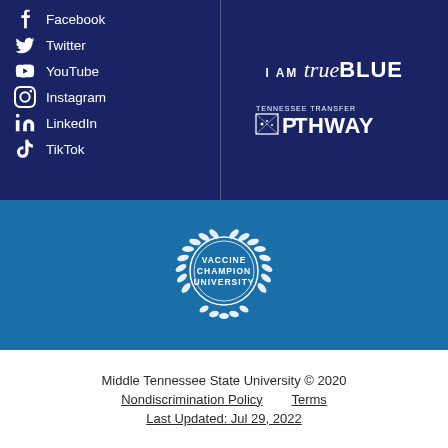Facebook
Twitter
YouTube
Instagram
LinkedIn
TikTok
[Figure (logo): I AM trueBLUE logo in white text on dark navy background]
[Figure (logo): Tennessee Transfer PATHWAY logo in white text]
[Figure (logo): Vaccine Champion University circular badge/seal in white on medium blue background]
Middle Tennessee State University © 2020
Nondiscrimination Policy        Terms
Last Updated: Jul 29, 2022